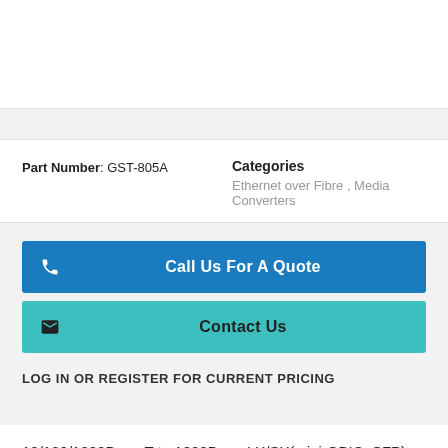Part Number: GST-805A   Categories   Ethernet over Fibre , Media Converters
Call Us For A Quote
Contact Us
LOG IN OR REGISTER FOR CURRENT PRICING
10/100/1000Base-T to 1000Base-LX/SX(mini-GBIC, SFP) Smart Media Converter-distance depends on SFP module